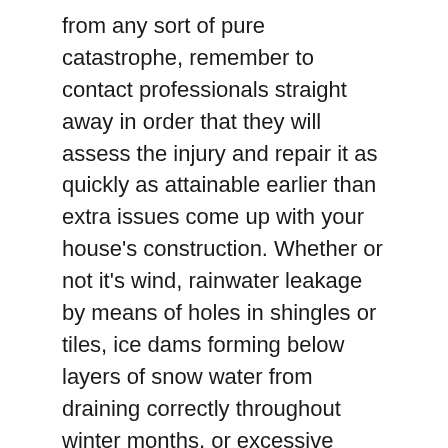from any sort of pure catastrophe, remember to contact professionals straight away in order that they will assess the injury and repair it as quickly as attainable earlier than extra issues come up with your house's construction. Whether or not it's wind, rainwater leakage by means of holes in shingles or tiles, ice dams forming below layers of snow water from draining correctly throughout winter months, or excessive warmth, you have to to name an expert for the most effective outcomes.
Plumbing
A plumbing emergency can occur at any time, so it's essential to have the variety of a dependable 24-hour plumber saved in your telephone. From water leaks and pipe bursts to clogged drains and sewage backups, many potential issues can happen with your house's plumbing system.